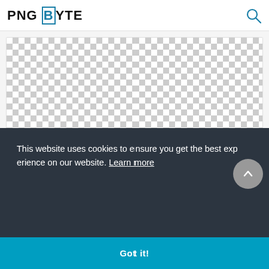PNGBYTE
[Figure (screenshot): Checkerboard transparency pattern for spring flowers PNG image preview]
spring flowers png, Flower,flower backgrounds png
2405x2400px
[Figure (screenshot): Checkerboard transparency pattern for flower crown PNG image preview (partially visible)]
This website uses cookies to ensure you get the best experience on our website. Learn more
Got it!
r crown,Flower Crown png